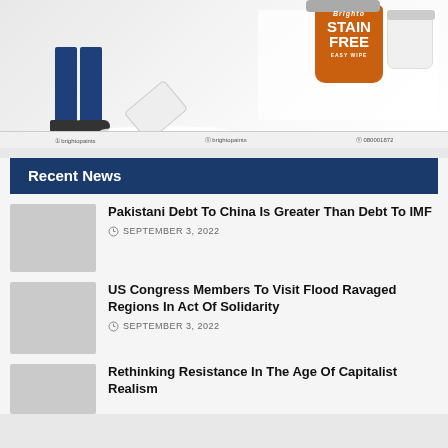[Figure (photo): Brighto Stain Free paint advertisement banner showing person standing with paint spill, orange paint bucket with 'Stain Free' branding, and white paint containers. Footer shows social media and contact info.]
Recent News
Pakistani Debt To China Is Greater Than Debt To IMF
SEPTEMBER 3, 2022
US Congress Members To Visit Flood Ravaged Regions In Act Of Solidarity
SEPTEMBER 3, 2022
Rethinking Resistance In The Age Of Capitalist Realism